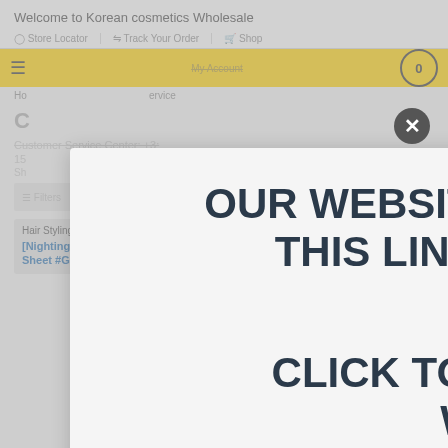Welcome to Korean cosmetics Wholesale
Store Locator | Track Your Order | Shop
My Account
OUR WEBSITE HAS MOVED AND THIS LINK IS NO LONGER ACTIVE
Customer Service Center: +3: 15
CLICK TO VISIT OUR NEW WEBSITE
Hair Styling
[Nightingale] Hair Styling Brush Sheet #Glossy
Pack & Sheet Masks
[Nightingale] Milk-Injection Luminous Coating Mask